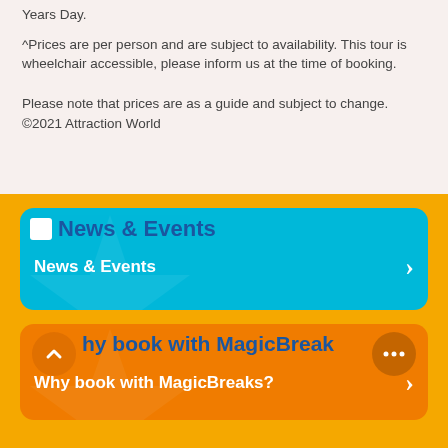Years Day.
^Prices are per person and are subject to availability. This tour is wheelchair accessible, please inform us at the time of booking.
Please note that prices are as a guide and subject to change. ©2021 Attraction World
[Figure (infographic): News & Events navigation card with cyan/teal background, star watermark, and white arrow button]
[Figure (infographic): Why book with MagicBreaks? navigation card with orange background, star watermark, up-arrow button, dots button, and white arrow button]